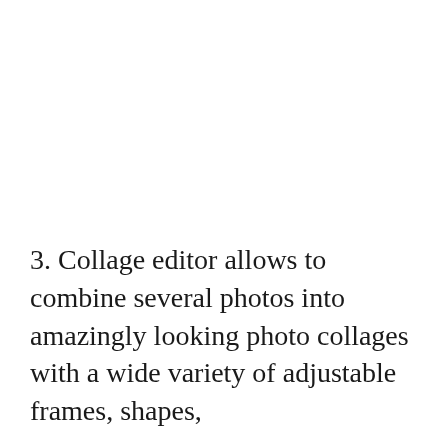3. Collage editor allows to combine several photos into amazingly looking photo collages with a wide variety of adjustable frames, shapes,